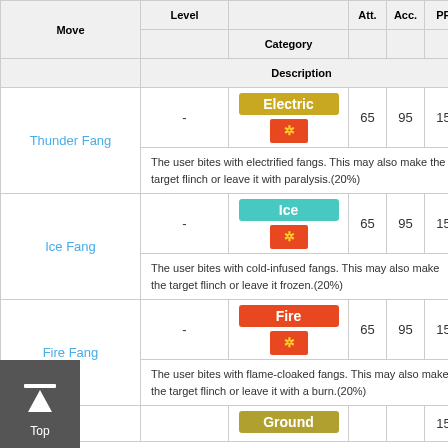| Move | Level | Category | Att. | Acc. | PP |
| --- | --- | --- | --- | --- | --- |
| Thunder Fang | - | Electric / Physical | 65 | 95 | 15 |
|  | Description |  |  |  |  |
|  | The user bites with electrified fangs. This may also make the target flinch or leave it with paralysis.(20%) |  |  |  |  |
| Ice Fang | - | Ice / Physical | 65 | 95 | 15 |
|  | Description |  |  |  |  |
|  | The user bites with cold-infused fangs. This may also make the target flinch or leave it frozen.(20%) |  |  |  |  |
| Fire Fang | - | Fire / Physical | 65 | 95 | 15 |
|  | Description |  |  |  |  |
|  | The user bites with flame-cloaked fangs. This may also make the target flinch or leave it with a burn.(20%) |  |  |  |  |
|  | - | Ground |  |  | 15 |